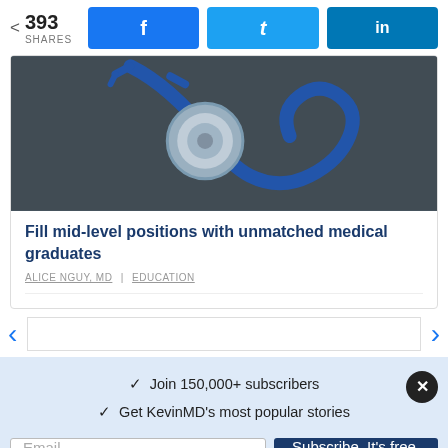< 393 SHARES
[Figure (photo): Photo of a stethoscope on a dark surface]
Fill mid-level positions with unmatched medical graduates
ALICE NGUY, MD | EDUCATION
✓  Join 150,000+ subscribers
✓  Get KevinMD's most popular stories
Email
Subscribe. It's free.